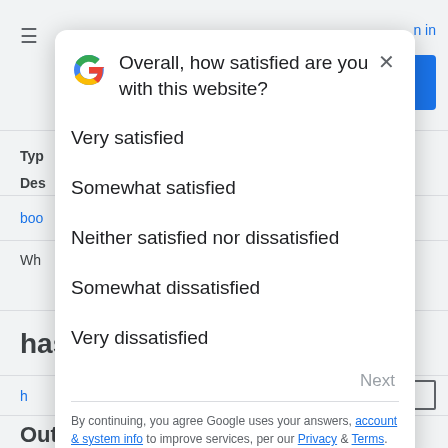[Figure (screenshot): Background webpage (Google support or similar) partially visible behind the modal dialog, showing navigation elements, labels, and page content blurred/cropped]
Overall, how satisfied are you with this website?
Very satisfied
Somewhat satisfied
Neither satisfied nor dissatisfied
Somewhat dissatisfied
Very dissatisfied
Next
By continuing, you agree Google uses your answers, account & system info to improve services, per our Privacy & Terms.